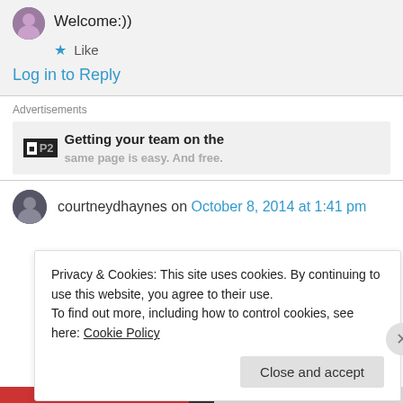Welcome:))
★ Like
Log in to Reply
Advertisements
Getting your team on the same page is easy. And free.
courtneydhaynes on October 8, 2014 at 1:41 pm
Privacy & Cookies: This site uses cookies. By continuing to use this website, you agree to their use.
To find out more, including how to control cookies, see here: Cookie Policy
Close and accept